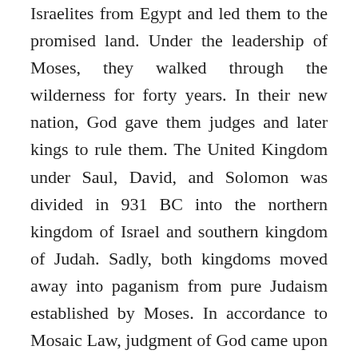Israelites from Egypt and led them to the promised land. Under the leadership of Moses, they walked through the wilderness for forty years. In their new nation, God gave them judges and later kings to rule them. The United Kingdom under Saul, David, and Solomon was divided in 931 BC into the northern kingdom of Israel and southern kingdom of Judah. Sadly, both kingdoms moved away into paganism from pure Judaism established by Moses. In accordance to Mosaic Law, judgment of God came upon the two kingdoms. First in 722 BC, northern kingdom of Israel was defeated and dispersed by Assyrians. Later in 586 BC, the southern kingdom of Judah was defeated by Babylonians. The Jews were taken into captivity and relocated to Babylon. The Babylonian Captivity lasted for seventy years. Then, God brought His people back to Israel. The first group of Jews reached Jerusalem 538 BC. Under the shadows of the Persian Empire, the Jews started to settle in the promised land...